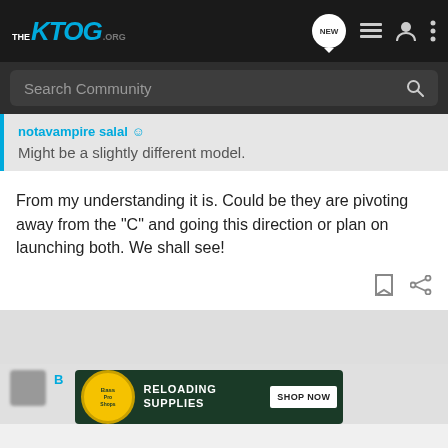THE KTOG.ORG — navigation bar with NEW, list, user, and menu icons
Search Community
notavampire salal  ☺
Might be a slightly different model.
From my understanding it is. Could be they are pivoting away from the "C" and going this direction or plan on launching both. We shall see!
[Figure (screenshot): Bass Pro Shops advertisement banner for Reloading Supplies with SHOP NOW button]
B [username partially visible]